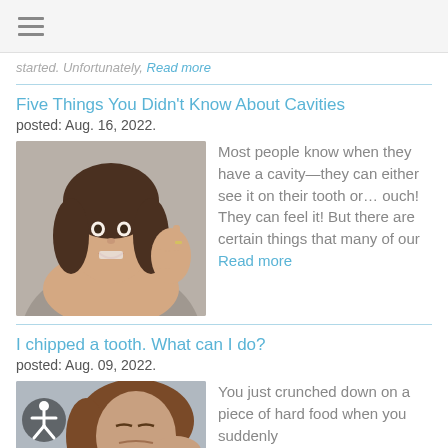started. Unfortunately, Read more
Five Things You Didn't Know About Cavities
posted: Aug. 16, 2022.
[Figure (photo): Young woman smiling and holding up her hand showing five fingers]
Most people know when they have a cavity—they can either see it on their tooth or... ouch! They can feel it! But there are certain things that many of our Read more
I chipped a tooth. What can I do?
posted: Aug. 09, 2022.
[Figure (photo): Woman grimacing in pain holding her jaw, with accessibility icon overlay]
You just crunched down on a piece of hard food when you suddenly